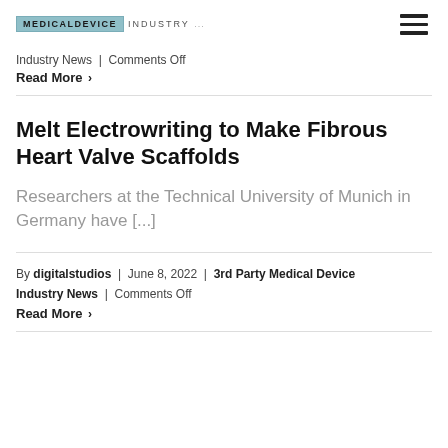MEDICALDEVICE INDUSTRY.com
Industry News | Comments Off
Read More >
Melt Electrowriting to Make Fibrous Heart Valve Scaffolds
Researchers at the Technical University of Munich in Germany have [...]
By digitalstudios | June 8, 2022 | 3rd Party Medical Device Industry News | Comments Off
Read More >